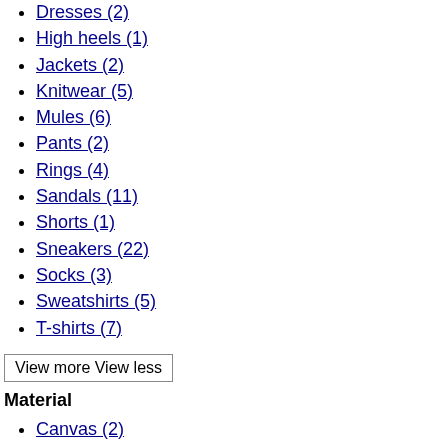Dresses (2)
High heels (1)
Jackets (2)
Knitwear (5)
Mules (6)
Pants (2)
Rings (4)
Sandals (11)
Shorts (1)
Sneakers (22)
Socks (3)
Sweatshirts (5)
T-shirts (7)
View more View less
Material
Canvas (2)
Embossed leather (1)
Recycled fabric (7)
Recycled nylon (2)
Rubber (14)
Textured leather (5)